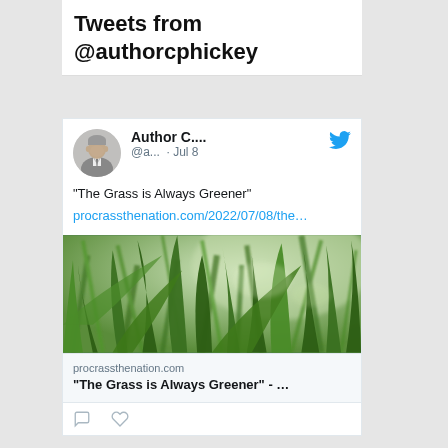Tweets from @authorcphickey
Author C.... @a... · Jul 8
“The Grass is Always Greener” procrassthenation.com/2022/07/08/the…
[Figure (photo): Close-up photo of green grass blades]
procrassthenation.com “The Grass is Always Greener” - …